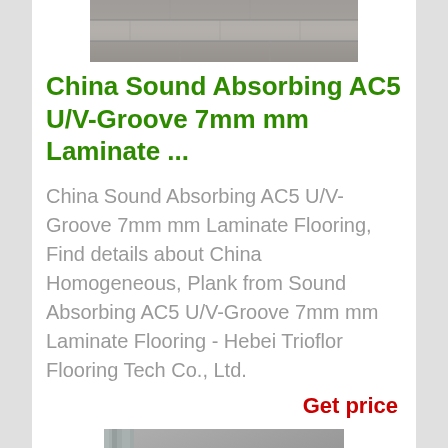[Figure (photo): Close-up photo of laminate flooring planks in grey/brown wood grain pattern]
China Sound Absorbing AC5 U/V-Groove 7mm mm Laminate ...
China Sound Absorbing AC5 U/V-Groove 7mm mm Laminate Flooring, Find details about China Homogeneous, Plank from Sound Absorbing AC5 U/V-Groove 7mm mm Laminate Flooring - Hebei Trioflor Flooring Tech Co., Ltd.
Get price
[Figure (photo): Room scene showing laminate flooring with grey curtains, a framed picture, a storage box, and a Union Jack pillow]